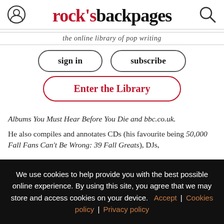rock's backpages — the online library of pop writing
sign in | subscribe
Enter the Library
Albums You Must Hear Before You Die and bbc.co.uk.
He also compiles and annotates CDs (his favourite being 50,000 Fall Fans Can't Be Wrong: 39 Fall Greats), DJs,
We use cookies to help provide you with the best possible online experience. By using this site, you agree that we may store and access cookies on your device. Accept | Cookies policy | Privacy policy